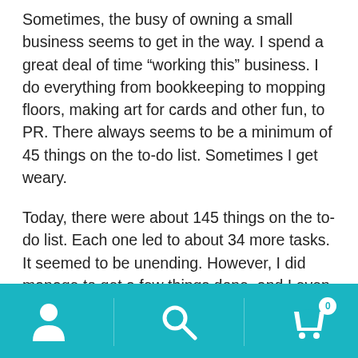Sometimes, the busy of owning a small business seems to get in the way. I spend a great deal of time “working this” business. I do everything from bookkeeping to mopping floors, making art for cards and other fun, to PR. There always seems to be a minimum of 45 things on the to-do list. Sometimes I get weary.
Today, there were about 145 things on the to-do list. Each one led to about 34 more tasks. It seemed to be unending. However, I did manage to get a few things done, and I even prepared dinner for my husband and me.
But it was frustrating. For a time I concentrated on the frustration part Things were not working the way I had become accustomed, while more and more demands were
[Figure (other): Mobile app navigation bar with teal background containing three icons: user/profile icon on the left, search magnifying glass icon in the center, and shopping cart icon with badge showing '0' on the right. Vertical dividers separate the icons.]